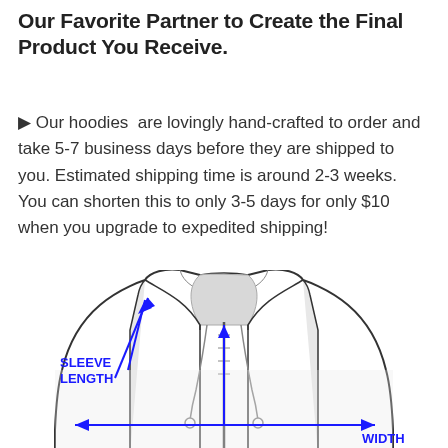Our Favorite Partner to Create the Final Product You Receive.
🔶 Our hoodies are lovingly hand-crafted to order and take 5-7 business days before they are shipped to you. Estimated shipping time is around 2-3 weeks. You can shorten this to only 3-5 days for only $10 when you upgrade to expedited shipping!
[Figure (illustration): Technical fashion illustration of a zip-up hoodie showing measurement guides: a blue vertical arrow labeled 'SLEEVE LENGTH' pointing diagonally from shoulder, a vertical blue arrow from collar to bottom, and a horizontal blue double-headed arrow across the chest labeled 'WIDTH'.]